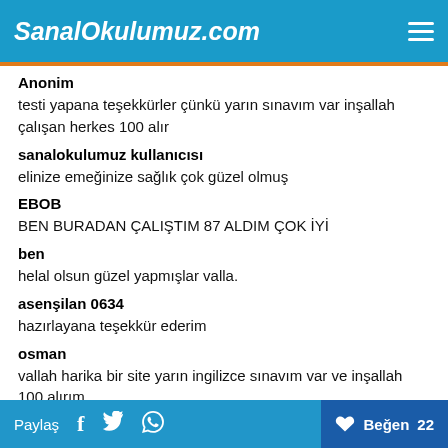SanalOkulumuz.com
Anonim
testi yapana teşekkürler çünkü yarın sınavım var inşallah çalışan herkes 100 alır
sanalokulumuz kullanıcısı
elinize emeğinize sağlık çok güzel olmuş
EBOB
BEN BURADAN ÇALIŞTIM 87 ALDIM ÇOK İYİ
ben
helal olsun güzel yapmışlar valla.
asenşilan 0634
hazırlayana teşekkür ederim
osman
vallah harika bir site yarın ingilizce sınavım var ve inşallah 100 alırım
Paylaş  Beğen 22